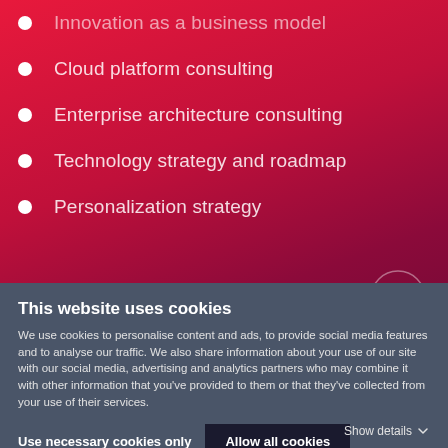Innovation as a business model
Cloud platform consulting
Enterprise architecture consulting
Technology strategy and roadmap
Personalization strategy
Experience design
This website uses cookies
We use cookies to personalise content and ads, to provide social media features and to analyse our traffic. We also share information about your use of our site with our social media, advertising and analytics partners who may combine it with other information that you've provided to them or that they've collected from your use of their services.
Use necessary cookies only
Allow all cookies
Show details